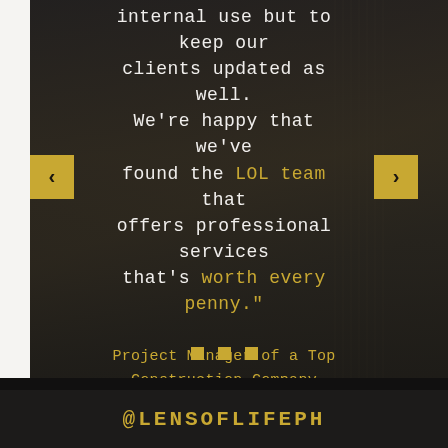internal use but to keep our clients updated as well. We're happy that we've found the LOL team that offers professional services that's worth every penny."
Project Manager of a Top Construction Company
Shoot Location: Multiple Locations
Package: Photo & Video
[Figure (other): Navigation dots (3 gold squares) for carousel indicator]
@LENSOFLIFEPH